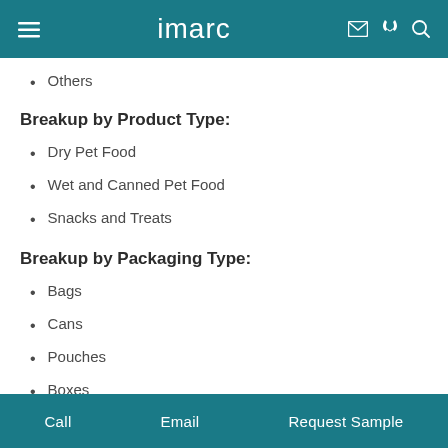imarc
Others
Breakup by Product Type:
Dry Pet Food
Wet and Canned Pet Food
Snacks and Treats
Breakup by Packaging Type:
Bags
Cans
Pouches
Boxes
Others
Call   Email   Request Sample